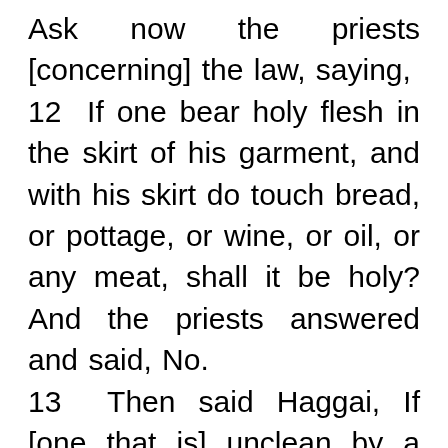Ask now the priests [concerning] the law, saying, 12 If one bear holy flesh in the skirt of his garment, and with his skirt do touch bread, or pottage, or wine, or oil, or any meat, shall it be holy? And the priests answered and said, No. 13 Then said Haggai, If [one that is] unclean by a dead body touch any of these, shall it be unclean?